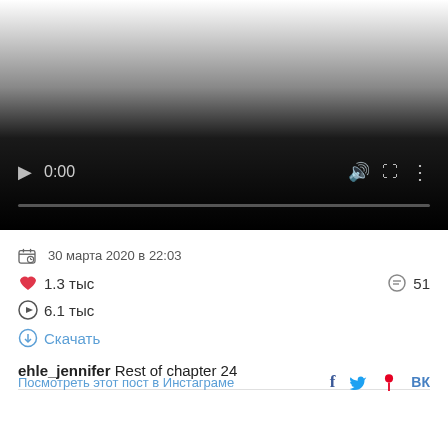[Figure (screenshot): Video player with gradient background, play button, time 0:00, volume and fullscreen controls, and a progress bar]
30 марта 2020 в 22:03
❤ 1.3 тыс   💬 51
▶ 6.1 тыс
⬇ Скачать
ehle_jennifer Rest of chapter 24
Посмотреть этот пост в Инстаграме